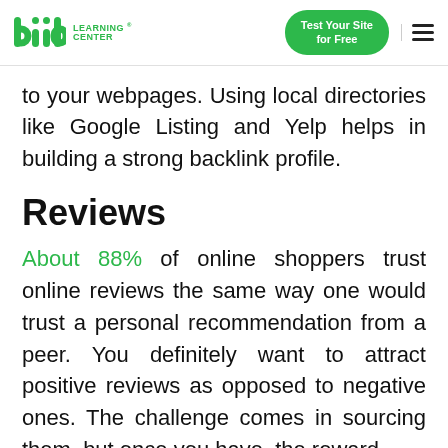diib Learning Center — Test Your Site for Free
to your webpages. Using local directories like Google Listing and Yelp helps in building a strong backlink profile.
Reviews
About 88% of online shoppers trust online reviews the same way one would trust a personal recommendation from a peer. You definitely want to attract positive reviews as opposed to negative ones. The challenge comes in sourcing them, but once you have, the reward